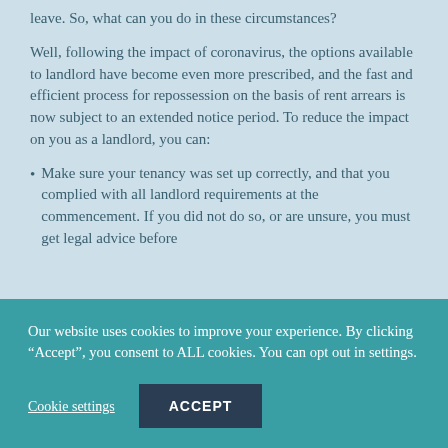leave. So, what can you do in these circumstances?
Well, following the impact of coronavirus, the options available to landlord have become even more prescribed, and the fast and efficient process for repossession on the basis of rent arrears is now subject to an extended notice period. To reduce the impact on you as a landlord, you can:
Make sure your tenancy was set up correctly, and that you complied with all landlord requirements at the commencement. If you did not do so, or are unsure, you must get legal advice before
Our website uses cookies to improve your experience. By clicking “Accept”, you consent to ALL cookies. You can opt out in settings.
Cookie settings
ACCEPT